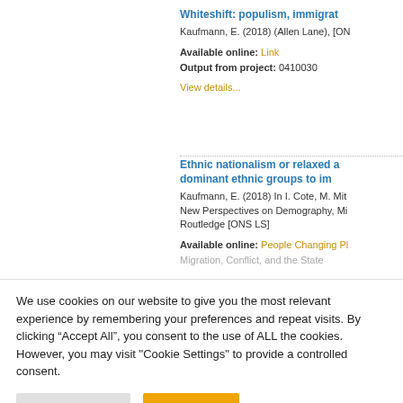Whiteshift: populism, immigrat...
Kaufmann, E. (2018) (Allen Lane), [ON...
Available online: Link
Output from project: 0410030
View details...
Ethnic nationalism or relaxed a... dominant ethnic groups to imm...
Kaufmann, E. (2018) In I. Cote, M. Mit... New Perspectives on Demography, Mi... Routledge [ONS LS]
Available online: People Changing Pl... Migration, Conflict, and the State
We use cookies on our website to give you the most relevant experience by remembering your preferences and repeat visits. By clicking “Accept All”, you consent to the use of ALL the cookies. However, you may visit "Cookie Settings" to provide a controlled consent.